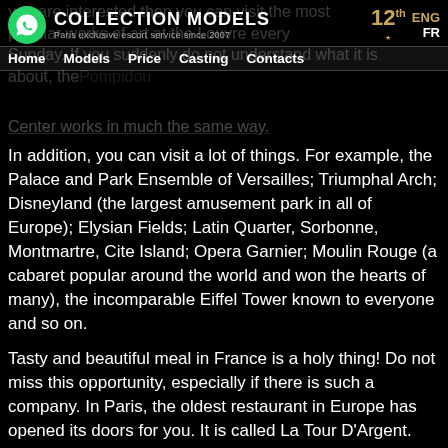COLLECTION MODELS — Paris exclusive escort service since 2007 — 12th anniversary — ENG / FR — Home Models Price Casting Contacts
you are interested then you can visit the most popular works of art at the Louvre every Sunday. If you suddenly do not understand what it is about, the Pompidou Center works in much the same way.
In addition, you can visit a lot of things. For example, the Palace and Park Ensemble of Versailles; Triumphal Arch; Disneyland (the largest amusement park in all of Europe); Elysian Fields; Latin Quarter, Sorbonne, Montmartre, Cite Island; Opera Garnier; Moulin Rouge (a cabaret popular around the world and won the hearts of many), the incomparable Eiffel Tower known to everyone and so on.
Tasty and beautiful meal in France is a holy thing! Do not miss this opportunity, especially if there is such a company. In Paris, the oldest restaurant in Europe has opened its doors for you. It is called La Tour D'Argent. And is famous, first of all, for its trademark duck. By the way, it was opened in 1582. The second most important institution is Le Grand Vefour.
It is not for nothing that it is believed that here you